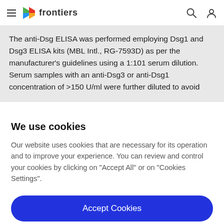frontiers
The anti-Dsg ELISA was performed employing Dsg1 and Dsg3 ELISA kits (MBL Intl., RG-7593D) as per the manufacturer's guidelines using a 1:101 serum dilution. Serum samples with an anti-Dsg3 or anti-Dsg1 concentration of >150 U/ml were further diluted to avoid
We use cookies
Our website uses cookies that are necessary for its operation and to improve your experience. You can review and control your cookies by clicking on "Accept All" or on "Cookies Settings".
Accept Cookies
Cookies Settings